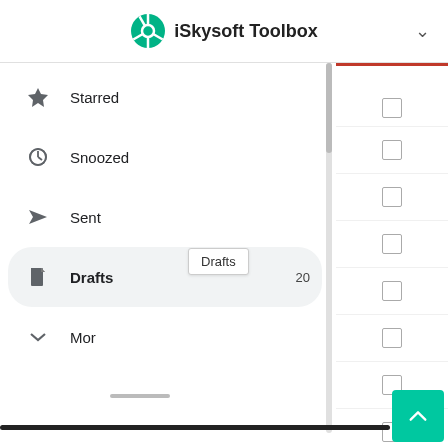[Figure (screenshot): iSkysoft Toolbox application header with logo (green circle with steering wheel icon) and chevron dropdown arrow]
Starred
Snoozed
Sent
Drafts 20
More
[Figure (screenshot): Tooltip showing 'Drafts' label near the More menu item]
[Figure (screenshot): Right panel with checkboxes, one with red top border, and a teal back-to-top button at bottom right]